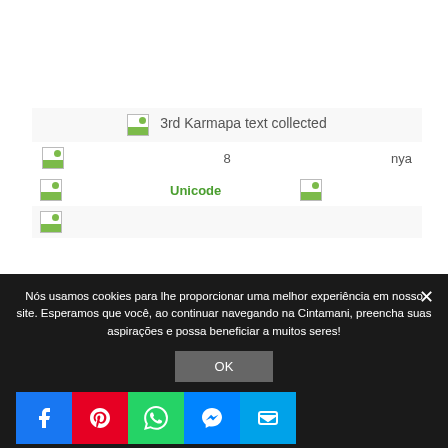| [img] | 3rd Karmapa text collected |  |
| [img] | 8 | nya |
| [img] | Unicode | [img] |
| [img] |  |  |
Nós usamos cookies para lhe proporcionar uma melhor experiência em nosso site. Esperamos que você, ao continuar navegando na Cintamani, preencha suas aspirações e possa beneficiar a muitos seres!
OK